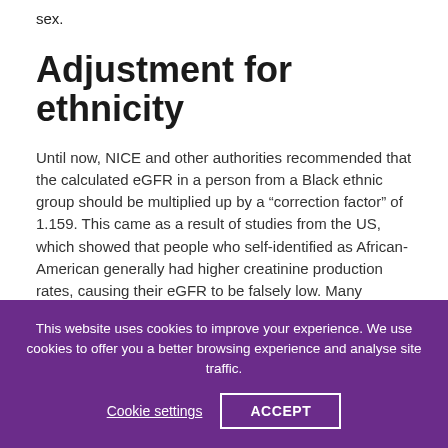sex.
Adjustment for ethnicity
Until now, NICE and other authorities recommended that the calculated eGFR in a person from a Black ethnic group should be multiplied up by a “correction factor” of 1.159. This came as a result of studies from the US, which showed that people who self-identified as African-American generally had higher creatinine production rates, causing their eGFR to be falsely low. Many researchers assumed that this was because muscle
This website uses cookies to improve your experience. We use cookies to offer you a better browsing experience and analyse site traffic.
Cookie settings   ACCEPT